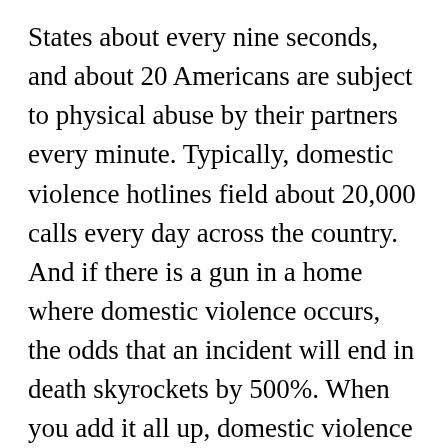States about every nine seconds, and about 20 Americans are subject to physical abuse by their partners every minute. Typically, domestic violence hotlines field about 20,000 calls every day across the country. And if there is a gun in a home where domestic violence occurs, the odds that an incident will end in death skyrockets by 500%. When you add it all up, domestic violence accounts for 15% of all violent crime.
From all indications, rates of domestic violence have increased over the last 18 months due to the stresses brought on by the pandemic. The United Nations has reported that domestic violence escalated 20%...